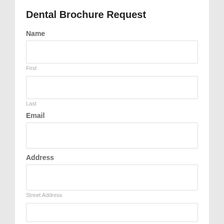Dental Brochure Request
Name
First
Last
Email
Address
Street Address